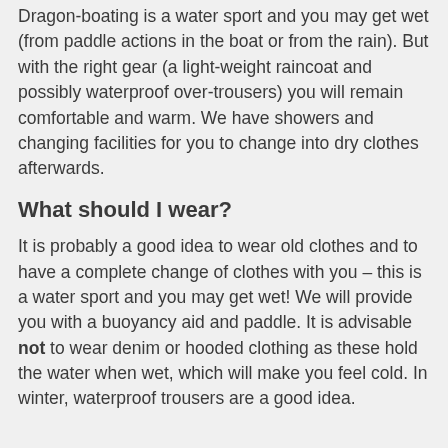Dragon-boating is a water sport and you may get wet (from paddle actions in the boat or from the rain). But with the right gear (a light-weight raincoat and possibly waterproof over-trousers) you will remain comfortable and warm. We have showers and changing facilities for you to change into dry clothes afterwards.
What should I wear?
It is probably a good idea to wear old clothes and to have a complete change of clothes with you – this is a water sport and you may get wet! We will provide you with a buoyancy aid and paddle. It is advisable not to wear denim or hooded clothing as these hold the water when wet, which will make you feel cold. In winter, waterproof trousers are a good idea.